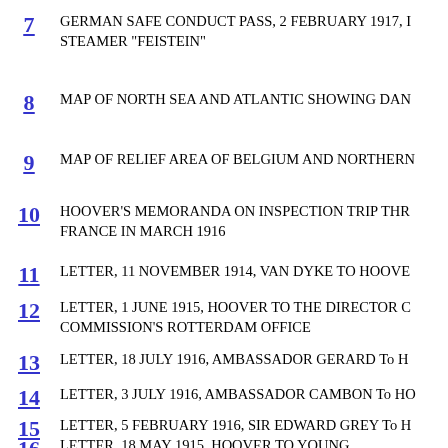7  GERMAN SAFE CONDUCT PASS, 2 FEBRUARY 1917, STEAMER "FEISTEIN"
8  MAP OF NORTH SEA AND ATLANTIC SHOWING DAN
9  MAP OF RELIEF AREA OF BELGIUM AND NORTHERN
10  HOOVER'S MEMORANDA ON INSPECTION TRIP THR FRANCE IN MARCH 1916
11  LETTER, 11 NOVEMBER 1914, VAN DYKE TO HOOVE
12  LETTER, 1 JUNE 1915, HOOVER TO THE DIRECTOR C COMMISSION'S ROTTERDAM OFFICE
13  LETTER, 18 JULY 1916, AMBASSADOR GERARD To H
14  LETTER, 3 JULY 1916, AMBASSADOR CAMBON To HO
15  LETTER, 5 FEBRUARY 1916, SIR EDWARD GREY To H
16  LETTER, 18 MAY 1915, HOOVER TO YOUNG